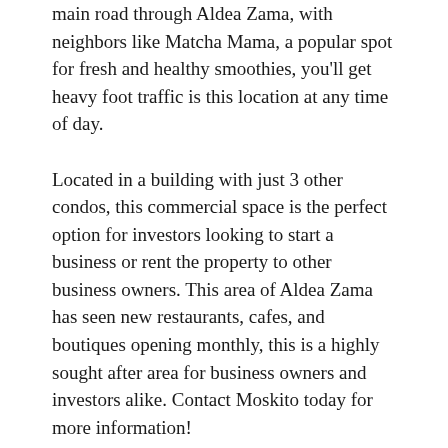main road through Aldea Zama, with neighbors like Matcha Mama, a popular spot for fresh and healthy smoothies, you'll get heavy foot traffic is this location at any time of day.
Located in a building with just 3 other condos, this commercial space is the perfect option for investors looking to start a business or rent the property to other business owners. This area of Aldea Zama has seen new restaurants, cafes, and boutiques opening monthly, this is a highly sought after area for business owners and investors alike. Contact Moskito today for more information!
Tulum, Mexico is the most popular tourist destination in Mexico and one of the most popular destinations in the world. Millions of travelers visit Tulum and the Riviera Maya every year, since 2019 the area has seen a rapid influx of digital nomads